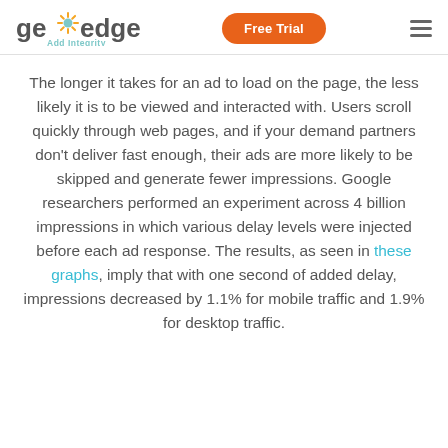GeoEdge – Add Integrity | Free Trial
The longer it takes for an ad to load on the page, the less likely it is to be viewed and interacted with. Users scroll quickly through web pages, and if your demand partners don't deliver fast enough, their ads are more likely to be skipped and generate fewer impressions. Google researchers performed an experiment across 4 billion impressions in which various delay levels were injected before each ad response. The results, as seen in these graphs, imply that with one second of added delay, impressions decreased by 1.1% for mobile traffic and 1.9% for desktop traffic.